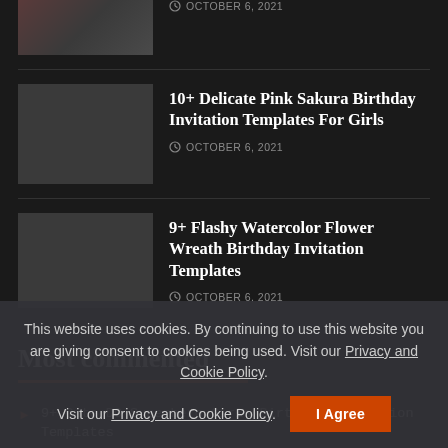OCTOBER 6, 2021
10+ Delicate Pink Sakura Birthday Invitation Templates For Girls
OCTOBER 6, 2021
9+ Flashy Watercolor Flower Wreath Birthday Invitation Templates
OCTOBER 6, 2021
Most commented
9+ Cute DC Superhero Girls Birthday Invitation Templates
This website uses cookies. By continuing to use this website you are giving consent to cookies being used. Visit our Privacy and Cookie Policy.
I Agree